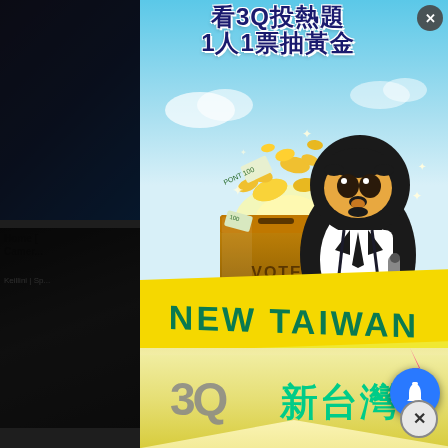Home [Hidden] Camera...
Keillini | Spo...
Strait...
US fea... launch...
[Figure (illustration): Advertisement popup for '3Q 新台灣' (3Q New Taiwan) YouTube channel. Features Chinese text '看3Q投熱題 1人1票抽黃金' (Watch 3Q hot topics, 1 person 1 vote draw gold), a cartoon character resembling a penguin/bird wearing a suit with a microphone, gold coins flying out of a ballot box labeled VOTE, a yellow banner reading 'NEW TAIWAN', and stylized '3Q 新台灣' branding at the bottom. Has a blue notification bell button and close buttons.]